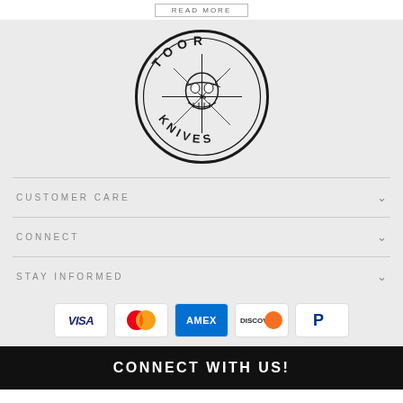[Figure (logo): Toor Knives circular logo with skull and compass rose design, text TOOR on top arc and KNIVES on bottom arc]
CUSTOMER CARE
CONNECT
STAY INFORMED
[Figure (other): Payment method icons: VISA, Mastercard, AMEX, Discover, PayPal]
CONNECT WITH US!